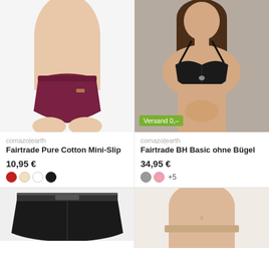[Figure (photo): Woman's torso wearing a dark wine/maroon bikini-style mini slip underwear on white background]
[Figure (photo): Woman wearing a black wireless bra (Fairtrade BH Basic ohne Bügel) on grey background, with green 'Versand 0,-' badge]
comazo|earth
Fairtrade Pure Cotton Mini-Slip
10,95 €
comazo|earth
Fairtrade BH Basic ohne Bügel
34,95 €
[Figure (photo): Black boyshort/panty underwear on white background, partially cropped at bottom]
[Figure (photo): Woman's torso in beige/skin-tone underwear, partially cropped at bottom]